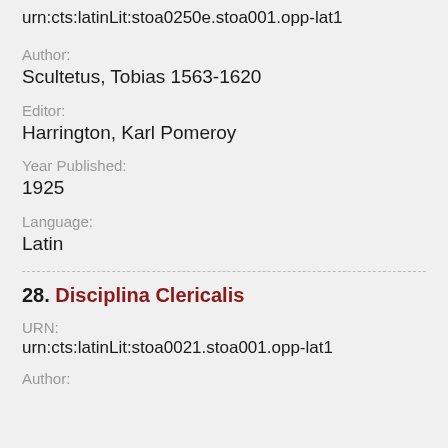urn:cts:latinLit:stoa0250e.stoa001.opp-lat1
Author:
Scultetus, Tobias 1563-1620
Editor:
Harrington, Karl Pomeroy
Year Published:
1925
Language:
Latin
28. Disciplina Clericalis
URN:
urn:cts:latinLit:stoa0021.stoa001.opp-lat1
Author: